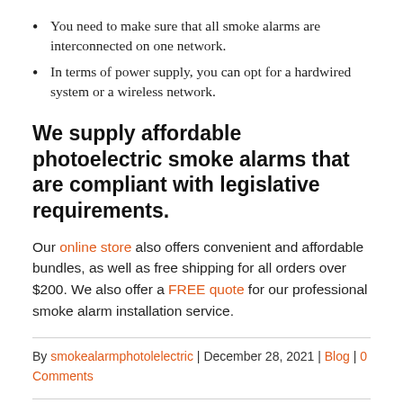You need to make sure that all smoke alarms are interconnected on one network.
In terms of power supply, you can opt for a hardwired system or a wireless network.
We supply affordable photoelectric smoke alarms that are compliant with legislative requirements.
Our online store also offers convenient and affordable bundles, as well as free shipping for all orders over $200. We also offer a FREE quote for our professional smoke alarm installation service.
By smokealarmphotolelectric | December 28, 2021 | Blog | 0 Comments